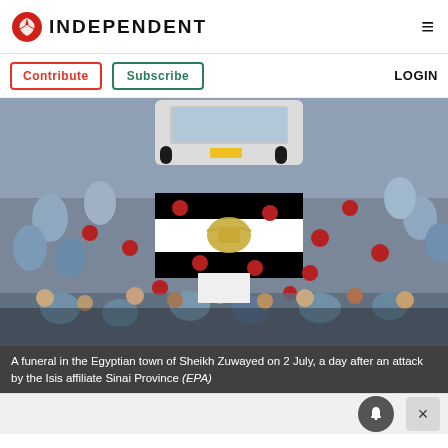INDEPENDENT
Contribute  Subscribe  LOGIN
[Figure (photo): Aerial view of a funeral procession in the Egyptian town of Sheikh Zuwayed on 2 July, showing a flag-draped coffin carried by soldiers in red berets through a large crowd of mourners, with a white vehicle visible at the top.]
A funeral in the Egyptian town of Sheikh Zuwayed on 2 July, a day after an attack by the Isis affiliate Sinai Province (EPA)